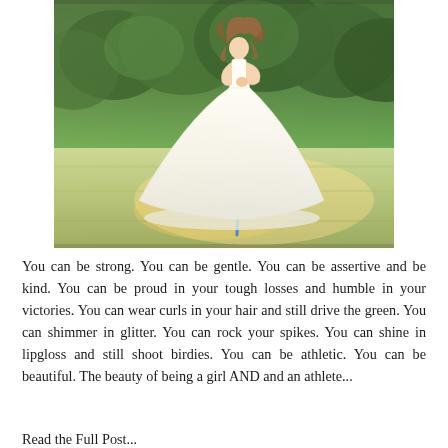[Figure (photo): A young girl in a large white lace ball gown dress standing on a golf course green, holding a golf club. She has curly hair and is photographed from behind/side. Green grass and trees visible in background.]
You can be strong. You can be gentle. You can be assertive and be kind. You can be proud in your tough losses and humble in your victories. You can wear curls in your hair and still drive the green. You can shimmer in glitter. You can rock your spikes. You can shine in lipgloss and still shoot birdies. You can be athletic. You can be beautiful. The beauty of being a girl AND and an athlete...
Read the Full Post...